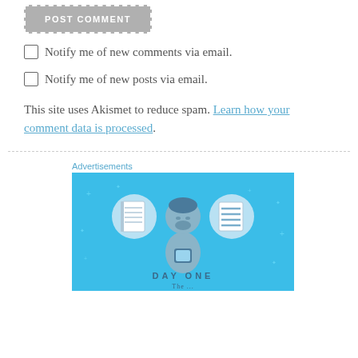POST COMMENT
Notify me of new comments via email.
Notify me of new posts via email.
This site uses Akismet to reduce spam. Learn how your comment data is processed.
Advertisements
[Figure (illustration): Advertisement image with light blue background showing a stylized person holding a phone/device, flanked by two circular icons (notebook and list), with text DAY ONE at the bottom]